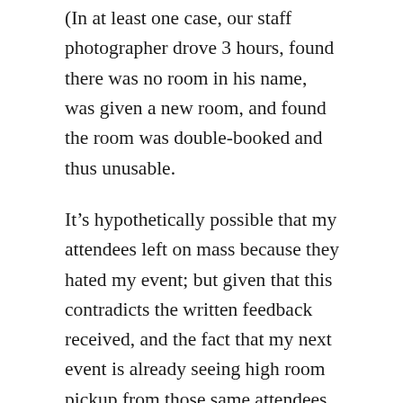(In at least one case, our staff photographer drove 3 hours, found there was no room in his name, was given a new room, and found the room was double-booked and thus unusable.
It’s hypothetically possible that my attendees left on mass because they hated my event; but given that this contradicts the written feedback received, and the fact that my next event is already seeing high room pickup from those same attendees, it’s unlikely, to say the least.
Going back to another fatal error, I’ll stress again: with regards to the food situation, it seems unlikely to me that Mr Sechrist was at fault, despite his position as catering manager. However, it’s clear that there was serious fault here, and it has jeopardized our vendor